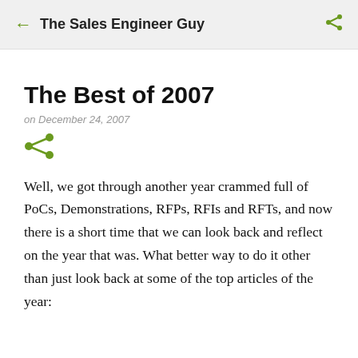The Sales Engineer Guy
The Best of 2007
on December 24, 2007
[Figure (other): Share icon (three connected circles forming a share/network symbol) in olive green color]
Well, we got through another year crammed full of PoCs, Demonstrations, RFPs, RFIs and RFTs, and now there is a short time that we can look back and reflect on the year that was. What better way to do it other than just look back at some of the top articles of the year: